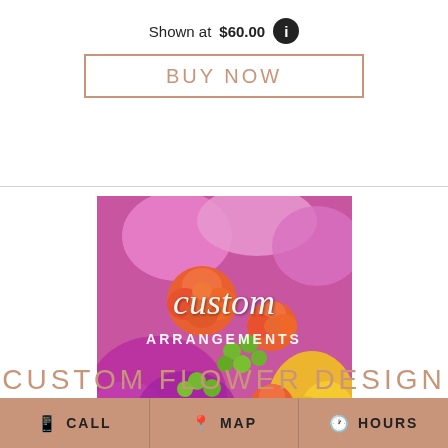Shown at $60.00
BUY NOW
[Figure (photo): Custom flower arrangements promotional image showing vibrant orange roses, purple carnations, pink stock flowers, green hypericum berries, and yellow lilies with overlaid text 'custom ARRANGEMENTS']
CUSTOM FLOWER DESIGN
CALL | MAP | HOURS